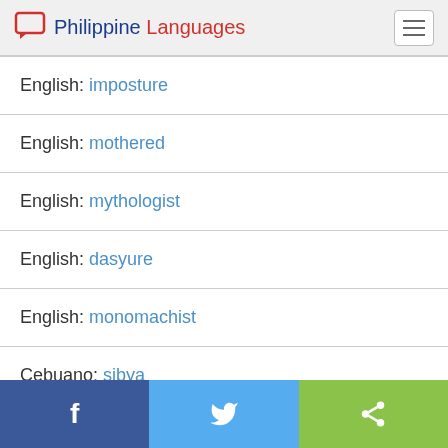Philippine Languages
English: imposture
English: mothered
English: mythologist
English: dasyure
English: monomachist
Cebuano: sibya
Facebook | Twitter | Share